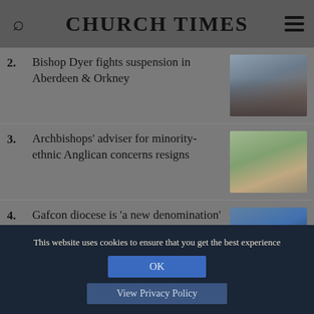CHURCH TIMES
2. Bishop Dyer fights suspension in Aberdeen & Orkney
3. Archbishops' adviser for minority-ethnic Anglican concerns resigns
4. Gafcon diocese is 'a new denomination' says Australian Primate
This website uses cookies to ensure that you get the best experience
OK
View Privacy Policy